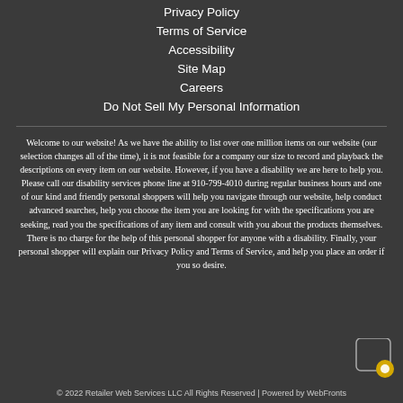Privacy Policy
Terms of Service
Accessibility
Site Map
Careers
Do Not Sell My Personal Information
Welcome to our website! As we have the ability to list over one million items on our website (our selection changes all of the time), it is not feasible for a company our size to record and playback the descriptions on every item on our website. However, if you have a disability we are here to help you. Please call our disability services phone line at 910-799-4010 during regular business hours and one of our kind and friendly personal shoppers will help you navigate through our website, help conduct advanced searches, help you choose the item you are looking for with the specifications you are seeking, read you the specifications of any item and consult with you about the products themselves. There is no charge for the help of this personal shopper for anyone with a disability. Finally, your personal shopper will explain our Privacy Policy and Terms of Service, and help you place an order if you so desire.
© 2022 Retailer Web Services LLC All Rights Reserved | Powered by WebFronts